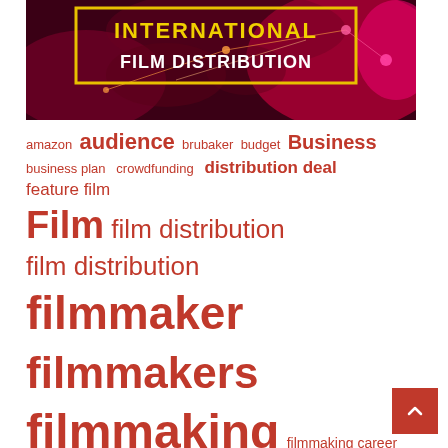[Figure (illustration): Banner image for International Film Distribution with dark red/magenta background, world map network lines, and bold yellow-outlined text reading INTERNATIONAL FILM DISTRIBUTION]
amazon audience brubaker budget Business business plan crowdfunding distribution deal feature film Film film distribution film distribution filmmaker filmmakers filmmaking filmmaking career filmmakingstuff hollywood independent Independent film independent filmmaker independent filmmakers investors iTunes jurgen wolff market marketing Money movie Movies PR production Screenplay